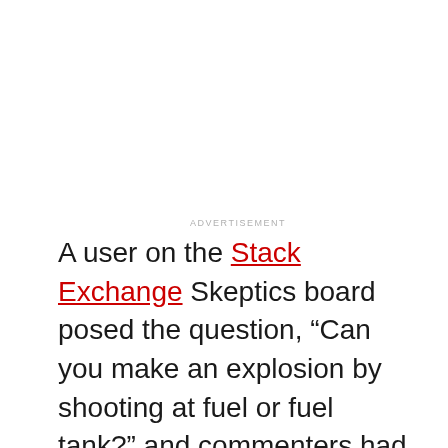ADVERTISEMENT
A user on the Stack Exchange Skeptics board posed the question, “Can you make an explosion by shooting at fuel or fuel tank?” and commenters had some great points. One that came up repeatedly was that bullets aren’t designed to make cars blow up. First, you’d need a bullet that could punch through the reinforced gas tank. and second, if you managed to do that, the bullet would have to be incendiary to ignite the fuel.